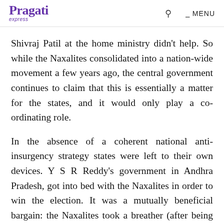Pragati express  MENU
Shivraj Patil at the home ministry didn't help. So while the Naxalites consolidated into a nation-wide movement a few years ago, the central government continues to claim that this is essentially a matter for the states, and it would only play a co-ordinating role.
In the absence of a coherent national anti-insurgency strategy states were left to their own devices. Y S R Reddy's government in Andhra Pradesh, got into bed with the Naxalites in order to win the election. It was a mutually beneficial bargain: the Naxalites took a breather (after being pummelled by the previous government